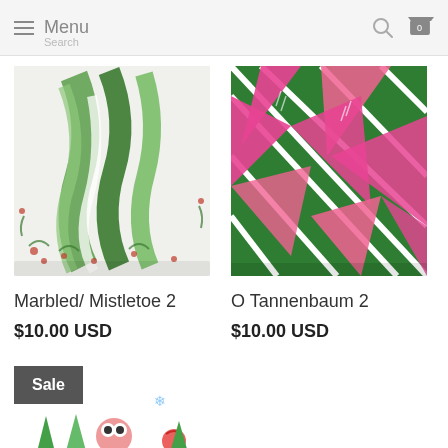Menu  🔍  🛒 0
[Figure (photo): Marbled/Mistletoe product image - folded fabric/paper with green marbled and mistletoe pattern]
Marbled/ Mistletoe 2
$10.00 USD
[Figure (photo): O Tannenbaum product image - folded fabric/paper with pink and green Christmas tree geometric pattern]
O Tannenbaum 2
$10.00 USD
[Figure (photo): Sale item product image - paper/fabric with colorful Christmas characters including owls and trees]
Sale